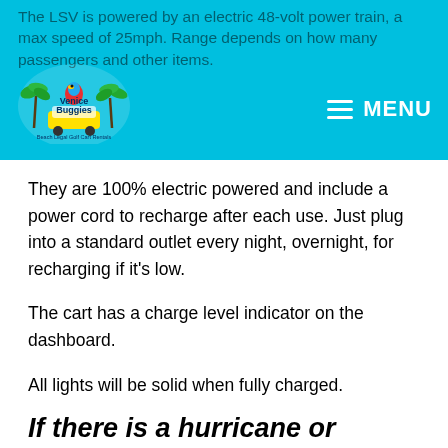The LSV is powered by an electric 48-volt power train, a max speed of 25mph. Range depends on how many passengers and other items.
[Figure (logo): Venice Buggies logo with tropical palm trees, colorful bird, and text reading 'Venice Buggies - Beach Legal Golf Cart Rentals']
They are 100% electric powered and include a power cord to recharge after each use. Just plug into a standard outlet every night, overnight, for recharging if it's low.
The cart has a charge level indicator on the dashboard.
All lights will be solid when fully charged.
If there is a hurricane or severe weather expected, what will happen?
We will contact you and arrange for the pickup of the cart